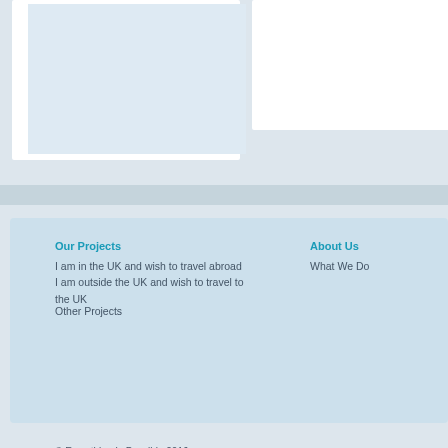[Figure (screenshot): Top section showing two white content panels with light blue inner areas on a grey-blue background. Left panel is larger; right panel has a horizontal divider line near the bottom.]
Our Projects
I am in the UK and wish to travel abroad
I am outside the UK and wish to travel to the UK
Other Projects
About Us
What We Do
© Everything Is Possible 2016
Everything Is Possible, 81 Station Road, Upper Poppleton, York, YO26 6P